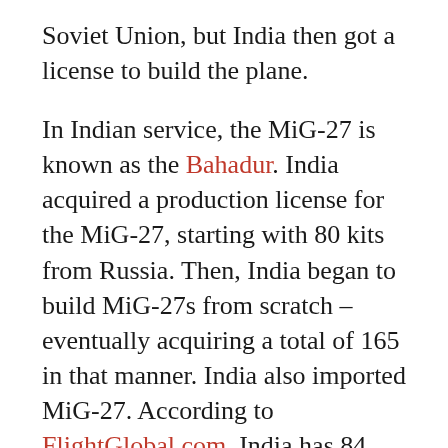Soviet Union, but India then got a license to build the plane.
In Indian service, the MiG-27 is known as the Bahadur. India acquired a production license for the MiG-27, starting with 80 kits from Russia. Then, India began to build MiG-27s from scratch – eventually acquiring a total of 165 in that manner. India also imported MiG-27. According to FlightGlobal.com, India has 84 MiG-27s in service.
But these are not the Cold War MiG-27s.